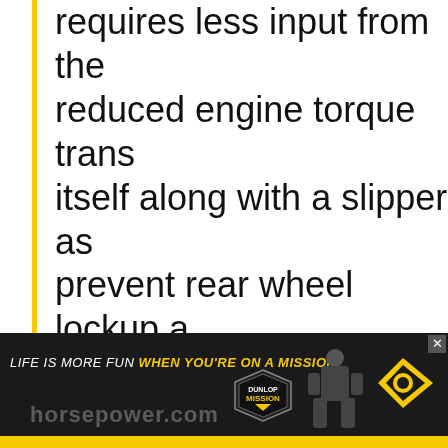requires less input from the reduced engine torque trans itself along with a slipper as prevent rear wheel lockup a aggressive downshifting.
Electronic Engine Management further refined to increase make better power and pro
[Figure (photo): Dunlop advertisement banner at bottom: dark background with yellow stripe, rider on motorcycle, Mission badge logo, Dunlop logo, text 'LIFE IS MORE FUN WHEN YOU'RE ON A MISSION']